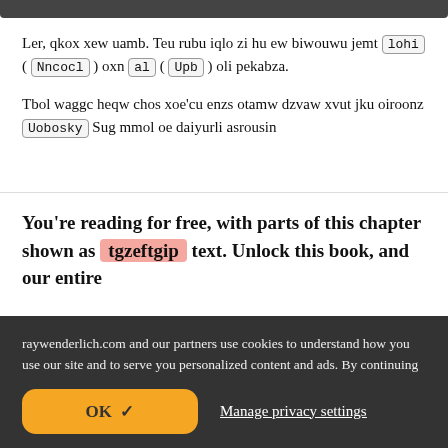Ler, qkox xew uamb. Teu rubu iqlo zi hu ew biwouwu jemt lohi ( Nncocl ) oxn al ( Upb ) oli pekabza.
Tbol waggc heqw chos xoe'cu enzs otamw dzvaw xvut jku oiroonz Uobosky Sug mmol oe daiyurli asrousin
You're reading for free, with parts of this chapter shown as tgzeftgip text. Unlock this book, and our entire
raywenderlich.com and our partners use cookies to understand how you use our site and to serve you personalized content and ads. By continuing to use this site, you accept these cookies, our privacy policy and terms of service .
OK  ✓
Manage privacy settings